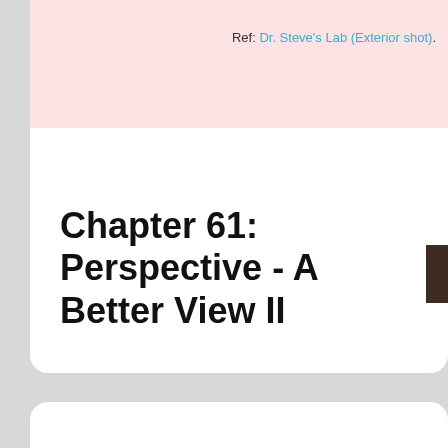Ref: Dr. Steve's Lab (Exterior shot).
Chapter 61: Perspective - A Better View II